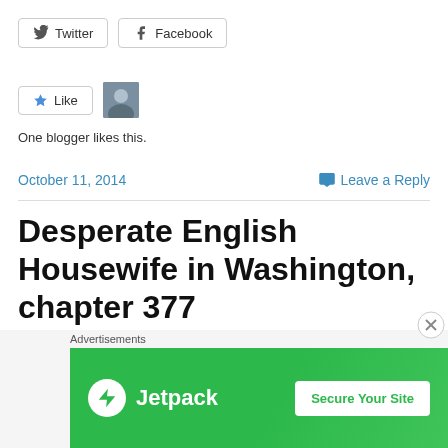[Figure (screenshot): Twitter share button]
[Figure (screenshot): Facebook share button]
[Figure (screenshot): Like button with star icon and blogger avatar]
One blogger likes this.
October 11, 2014
Leave a Reply
Desperate English Housewife in Washington, chapter 377
Global Living Magazine
Hoorah! I got a piece about my USA expat life in Global
[Figure (screenshot): Advertisements banner: Jetpack - Secure Your Site]